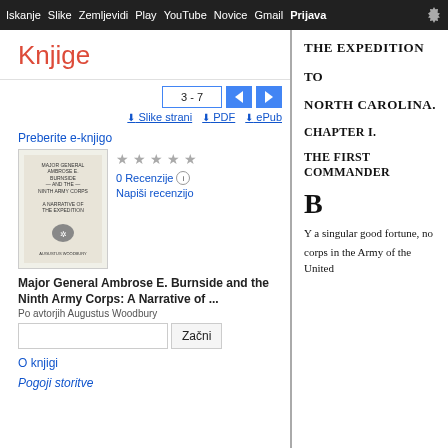Iskanje  Slike  Zemljevidi  Play  YouTube  Novice  Gmail  Prijava
Knjige
3 - 7
Slike strani  PDF  ePub
Preberite e-knjigo
0 Recenzije
Napiši recenzijo
Major General Ambrose E. Burnside and the Ninth Army Corps: A Narrative of ...
Po avtorjih Augustus Woodbury
Začni
O knjigi
Pogoji storitve
THE EXPEDITION

TO

NORTH CAROLINA.

CHAPTER I.

THE FIRST COMMANDER

B

Y a singular good fortune, no
corps in the Army of the United